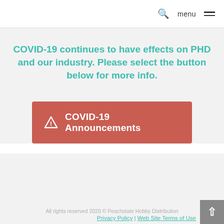search menu
COVID-19 continues to have effects on PHD and our industry. Please select the button below for more info.
[Figure (other): Red button with warning triangle icon and text 'COVID-19 Announcements']
All rights reserved 2020 © Peachstate Hobby Distribution  Privacy Policy | Web Site Terms of Use